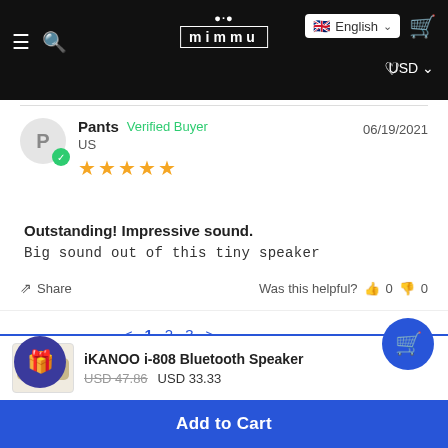mimmu | English USD
Pants  Verified Buyer
US
★★★★★
06/19/2021
Outstanding! Impressive sound.
Big sound out of this tiny speaker
Share  Was this helpful?  👍 0  👎 0
< 1 2 3 >
iKANOO i-808 Bluetooth Speaker
USD 47.86  USD 33.33
Add to Cart